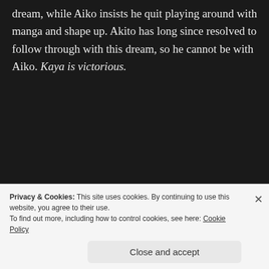dream, while Aiko insists he quit playing around with manga and shape up. Akito has long since resolved to follow through with this dream, so he cannot be with Aiko. Kaya is victorious.
[Figure (screenshot): WooCommerce advertisement banner with purple background. Shows WooCommerce logo at top, headline 'The most customizable eCommerce platform', a 'Start a new store' button, and decorative UI elements including a shopping cart icon and document panel.]
Privacy & Cookies: This site uses cookies. By continuing to use this website, you agree to their use.
To find out more, including how to control cookies, see here: Cookie Policy
Close and accept